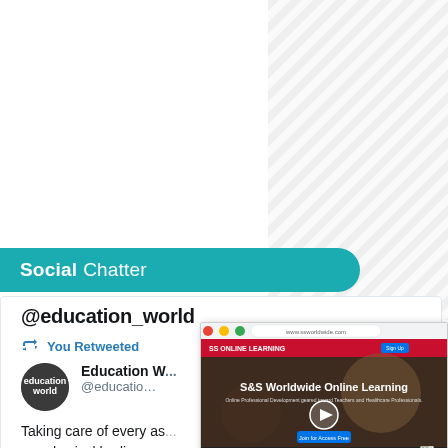[Figure (illustration): Diagonal grey and white striped pattern in the top-right background area]
Social Chatter
@education_world
You Retweeted
[Figure (illustration): Education World circular logo - dark circle with 'education world' text]
Education W...
@educatio...
Taking care of every as... our physical bodies, ou...
[Figure (screenshot): Screenshot of S&S Worldwide Online Learning website with video player showing 'S&S Worldwide Online Learning' title and play button]